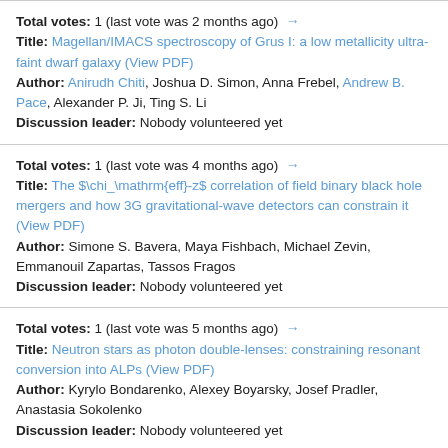Total votes: 1 (last vote was 2 months ago) → Title: Magellan/IMACS spectroscopy of Grus I: a low metallicity ultra-faint dwarf galaxy (View PDF) Author: Anirudh Chiti, Joshua D. Simon, Anna Frebel, Andrew B. Pace, Alexander P. Ji, Ting S. Li Discussion leader: Nobody volunteered yet
Total votes: 1 (last vote was 4 months ago) → Title: The $\chi_\mathrm{eff}-z$ correlation of field binary black hole mergers and how 3G gravitational-wave detectors can constrain it (View PDF) Author: Simone S. Bavera, Maya Fishbach, Michael Zevin, Emmanouil Zapartas, Tassos Fragos Discussion leader: Nobody volunteered yet
Total votes: 1 (last vote was 5 months ago) → Title: Neutron stars as photon double-lenses: constraining resonant conversion into ALPs (View PDF) Author: Kyrylo Bondarenko, Alexey Boyarsky, Josef Pradler, Anastasia Sokolenko Discussion leader: Nobody volunteered yet